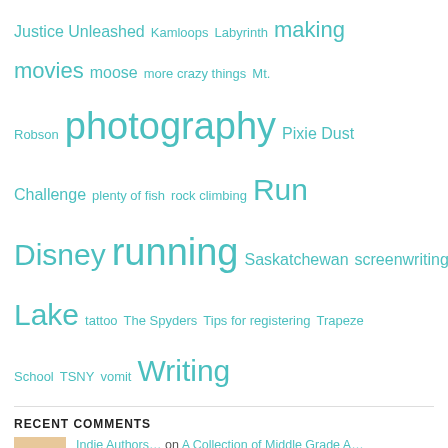Justice Unleashed Kamloops Labyrinth making movies moose more crazy things Mt. Robson photography Pixie Dust Challenge plenty of fish rock climbing Run Disney running Saskatchewan screenwriting Sewing skiing snowshoe snowshoeing Stake Lake tattoo The Spyders Tips for registering Trapeze School TSNY vomit Writing
RECENT COMMENTS
Indie Authors… on A Collection of Middle Grade A…
Catch Up Coffee Shar… on A Collection of Middle Grade A…
Vesta Giles on Helping anxious kids through b…
Jasramochon on Helping anxious kids through…